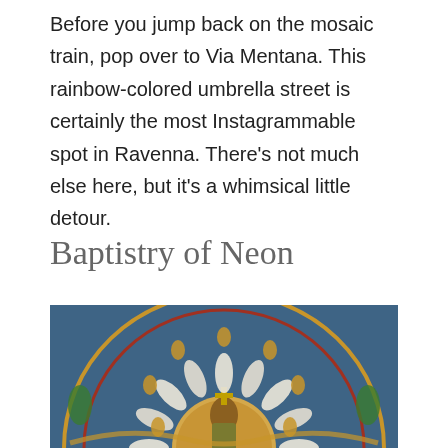Before you jump back on the mosaic train, pop over to Via Mentana. This rainbow-colored umbrella street is certainly the most Instagrammable spot in Ravenna. There's not much else here, but it's a whimsical little detour.
Baptistry of Neon
[Figure (photo): Circular mosaic ceiling of the Baptistry of Neon in Ravenna, showing a central medallion with a figure (baptism scene) surrounded by radiating white lily/flower petals and apostle figures on a blue/gold Byzantine mosaic background.]